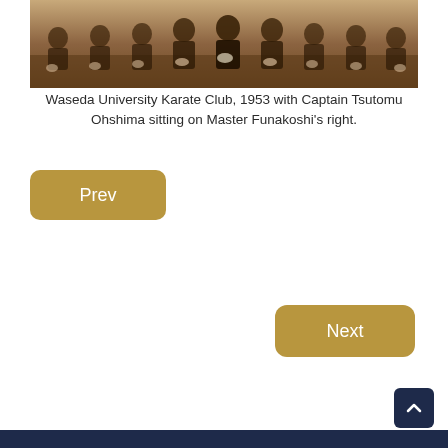[Figure (photo): Sepia-toned historical photograph of the Waseda University Karate Club, 1953, showing a group of men in dark uniforms kneeling/sitting in rows.]
Waseda University Karate Club, 1953 with Captain Tsutomu Ohshima sitting on Master Funakoshi’s right.
Prev
Next